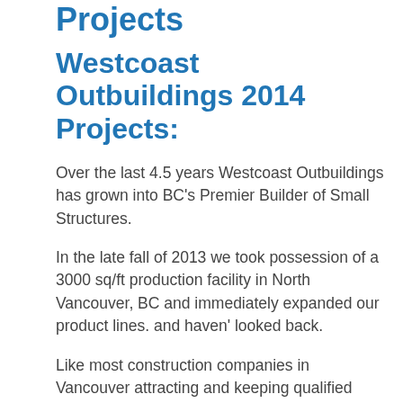Projects
Westcoast Outbuildings 2014 Projects:
Over the last 4.5 years Westcoast Outbuildings has grown into BC's Premier Builder of Small Structures.
In the late fall of 2013 we took possession of a 3000 sq/ft production facility in North Vancouver, BC and immediately expanded our product lines. and haven' looked back.
Like most construction companies in Vancouver attracting and keeping qualified workers has been a challenge for us but that seems to have been